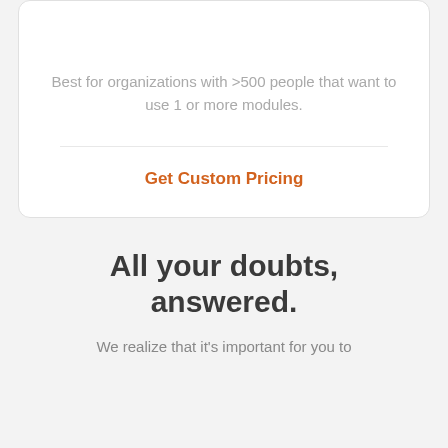Best for organizations with >500 people that want to use 1 or more modules.
Get Custom Pricing
Request Demo
All your doubts, answered.
We realize that it's important for you to